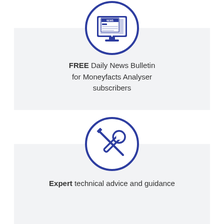[Figure (illustration): Blue circle icon with a computer monitor displaying a newspaper with NEWS headline]
FREE Daily News Bulletin for Moneyfacts Analyser subscribers
[Figure (illustration): Blue circle icon with crossed screwdriver and wrench tools]
Expert technical advice and guidance